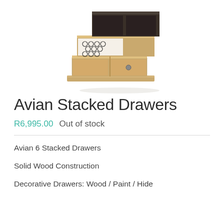[Figure (photo): Wooden stacked drawers unit with decorative honeycomb pattern panel and multiple compartments, photographed at an angle on white background]
Avian Stacked Drawers
R6,995.00  Out of stock
Avian 6 Stacked Drawers
Solid Wood Construction
Decorative Drawers: Wood / Paint / Hide